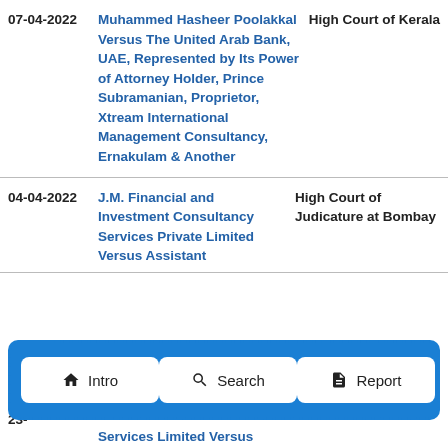| Date | Case | Court |
| --- | --- | --- |
| 07-04-2022 | Muhammed Hasheer Poolakkal Versus The United Arab Bank, UAE, Represented by Its Power of Attorney Holder, Prince Subramanian, Proprietor, Xtream International Management Consultancy, Ernakulam & Another | High Court of Kerala |
| 04-04-2022 | J.M. Financial and Investment Consultancy Services Private Limited Versus Assistant | High Court of Judicature at Bombay |
| 23-... | Services Limited Versus |  |
[Figure (screenshot): Navigation bar with three buttons: Intro (home icon), Search (search icon), Report (document icon), displayed on a blue dashed-border background.]